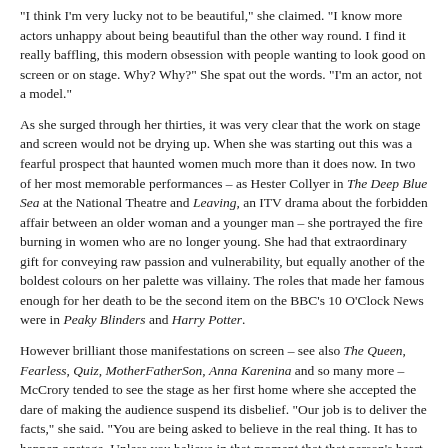"I think I'm very lucky not to be beautiful," she claimed. "I know more actors unhappy about being beautiful than the other way round. I find it really baffling, this modern obsession with people wanting to look good on screen or on stage. Why? Why?" She spat out the words. "I'm an actor, not a model."
As she surged through her thirties, it was very clear that the work on stage and screen would not be drying up. When she was starting out this was a fearful prospect that haunted women much more than it does now. In two of her most memorable performances – as Hester Collyer in The Deep Blue Sea at the National Theatre and Leaving, an ITV drama about the forbidden affair between an older woman and a younger man – she portrayed the fire burning in women who are no longer young. She had that extraordinary gift for conveying raw passion and vulnerability, but equally another of the boldest colours on her palette was villainy. The roles that made her famous enough for her death to be the second item on the BBC's 10 O'Clock News were in Peaky Blinders and Harry Potter.
However brilliant those manifestations on screen – see also The Queen, Fearless, Quiz, MotherFatherSon, Anna Karenina and so many more – McCrory tended to see the stage as her first home where she accepted the dare of making the audience suspend its disbelief. "Our job is to deliver the facts," she said. "You are being asked to believe in the real thing. It has to happen onstage. Unless you believe in that moment that that person's heart is breaking, the audience doesn't care." With her onstage, in Rosmersholm or The Last of the Haussmans, as Lady...